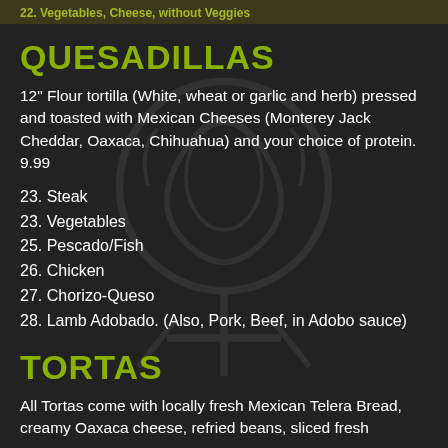22. Vegetables, Cheese, without Veggies
QUESADILLAS
12" Flour tortilla (White, wheat or garlic and herb) pressed and toasted with Mexican Cheeses (Monterey Jack Cheddar, Oaxaca, Chihuahua) and your choice of protein. 9.99
23. Steak
23. Vegetables
25. Pescado/Fish
26. Chicken
27. Chorizo-Queso
28. Lamb Adobado. (Also, Pork, Beef, in Adobo sauce)
TORTAS
All Tortas come with locally fresh Mexican Telera Bread, creamy Oaxaca cheese, refried beans, sliced fresh